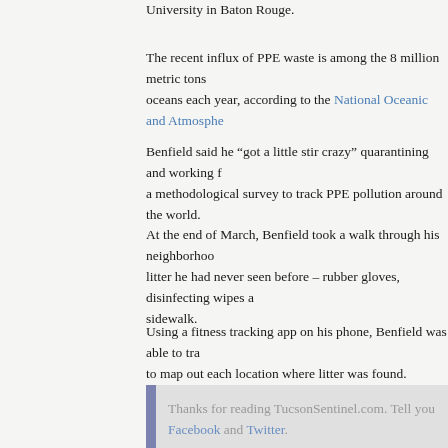University in Baton Rouge.
The recent influx of PPE waste is among the 8 million metric tons oceans each year, according to the National Oceanic and Atmosphe
Benfield said he “got a little stir crazy” quarantining and working f a methodological survey to track PPE pollution around the world.
At the end of March, Benfield took a walk through his neighborhoo litter he had never seen before – rubber gloves, disinfecting wipes a sidewalk.
Using a fitness tracking app on his phone, Benfield was able to tra to map out each location where litter was found.
Thanks for reading TucsonSentinel.com. Tell you Facebook and Twitter.
Benfield then reached out to colleagues in Shenzhen, China, after m Hong Kong. From there, Benfield has expanded the survey to arou send in their findings, which include photos of the waste and loca